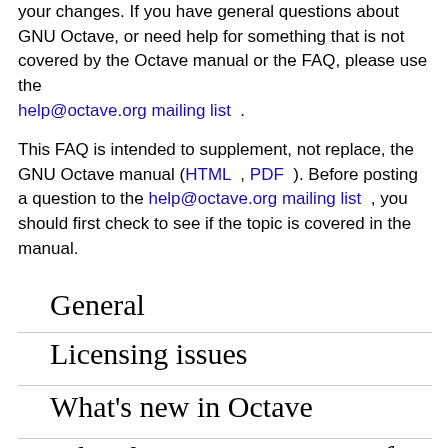your changes. If you have general questions about GNU Octave, or need help for something that is not covered by the Octave manual or the FAQ, please use the help@octave.org mailing list .
This FAQ is intended to supplement, not replace, the GNU Octave manual (HTML , PDF ). Before posting a question to the help@octave.org mailing list , you should first check to see if the topic is covered in the manual.
General
Licensing issues
What's new in Octave
What documentation exists for Octave?